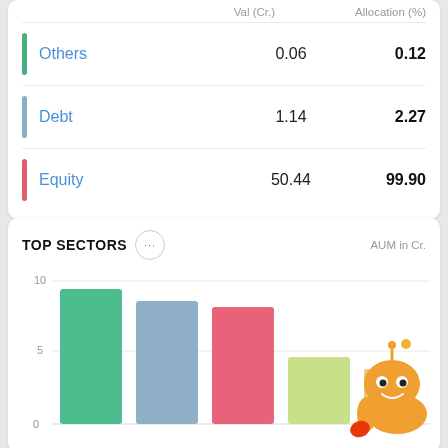|  | Val (Cr.) | Allocation (%) |
| --- | --- | --- |
| Others | 0.06 | 0.12 |
| Debt | 1.14 | 2.27 |
| Equity | 50.44 | 99.90 |
TOP SECTORS
AUM in Cr.
[Figure (bar-chart): TOP SECTORS]